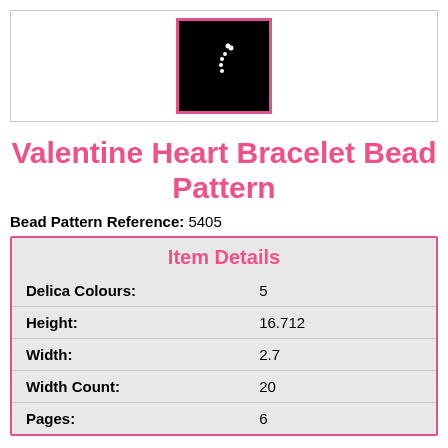[Figure (illustration): Small black square thumbnail image with a few white dots arranged in a curved shape, bordered by a pink/hot-pink frame, centered within a light gray bordered preview box.]
Valentine Heart Bracelet Bead Pattern
Bead Pattern Reference: 5405
| Item Details |  |
| --- | --- |
| Delica Colours: | 5 |
| Height: | 16.712 |
| Width: | 2.7 |
| Width Count: | 20 |
| Pages: | 6 |